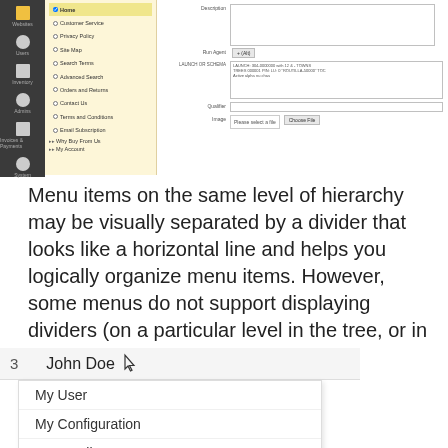[Figure (screenshot): A software UI screenshot showing a left dark sidebar with icons, a yellow-highlighted menu list on the left with items like Home, Customer Service, Privacy Policy, Site Map, etc., and a right panel with form fields including Description textarea, Run Agent, LAUNCH OR SCHEMA fields with content, a Qualifier field, and an Image upload field.]
Menu items on the same level of hierarchy may be visually separated by a divider that looks like a horizontal line and helps you logically organize menu items. However, some menus do not support displaying dividers (on a particular level in the tree, or in general).
[Figure (screenshot): A dropdown menu screenshot showing a navigation bar with number '3' and 'John Doe' with a cursor pointer icon, and an open dropdown menu with items: My User, My Configuration, My Emails, My Tasks, My Calendar.]